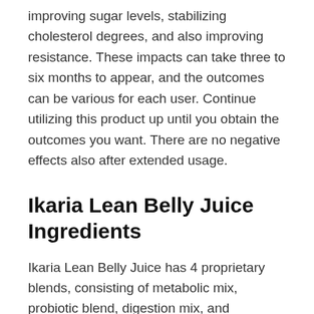improving sugar levels, stabilizing cholesterol degrees, and also improving resistance. These impacts can take three to six months to appear, and the outcomes can be various for each user. Continue utilizing this product up until you obtain the outcomes you want. There are no negative effects also after extended usage.
Ikaria Lean Belly Juice Ingredients
Ikaria Lean Belly Juice has 4 proprietary blends, consisting of metabolic mix, probiotic blend, digestion mix, and polyphenol blend. These blends are made with natural components offering a